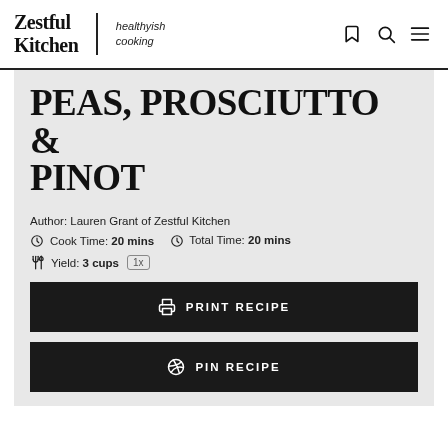Zestful Kitchen | healthyish cooking
PEAS, PROSCIUTTO & PINOT
Author: Lauren Grant of Zestful Kitchen
Cook Time: 20 mins   Total Time: 20 mins
Yield: 3 cups  1x
PRINT RECIPE
PIN RECIPE